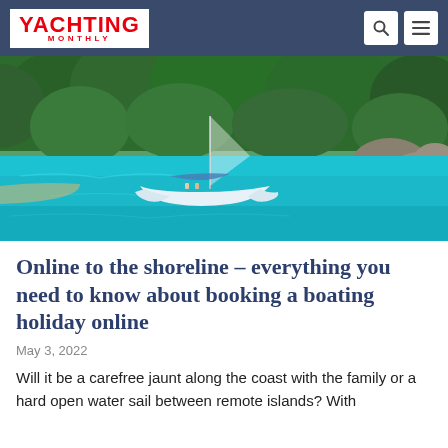YACHTING MONTHLY
[Figure (photo): A white catamaran sailing on turquoise waters near a lush tropical island coastline with rocky shore and dense green vegetation]
Online to the shoreline – everything you need to know about booking a boating holiday online
May 3, 2022
Will it be a carefree jaunt along the coast with the family or a hard open water sail between remote islands? With